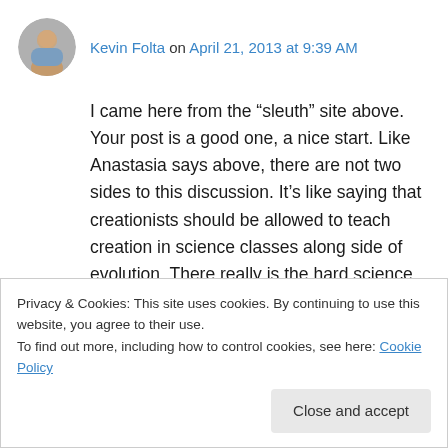Kevin Folta on April 21, 2013 at 9:39 AM
I came here from the “sleuth” site above. Your post is a good one, a nice start. Like Anastasia says above, there are not two sides to this discussion. It’s like saying that creationists should be allowed to teach creation in science classes along side of evolution. There really is the hard science and belief.
The trick for the anti-GM folks is to learn who to
Privacy & Cookies: This site uses cookies. By continuing to use this website, you agree to their use.
To find out more, including how to control cookies, see here: Cookie Policy
Close and accept